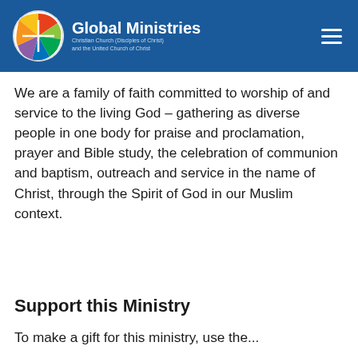Global Ministries — Christian Church (Disciples of Christ) and the United Church of Christ
We are a family of faith committed to worship of and service to the living God – gathering as diverse people in one body for praise and proclamation, prayer and Bible study, the celebration of communion and baptism, outreach and service in the name of Christ, through the Spirit of God in our Muslim context.
Support this Ministry
To make a gift for this ministry, use the...